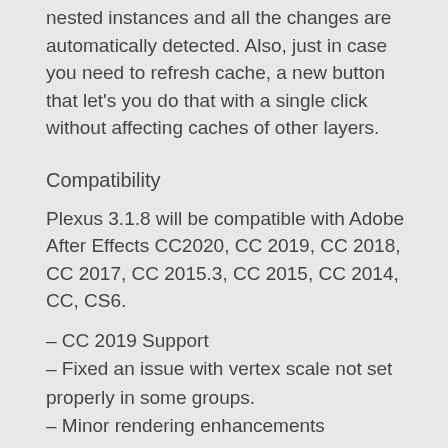nested instances and all the changes are automatically detected. Also, just in case you need to refresh cache, a new button that let's you do that with a single click without affecting caches of other layers.
Compatibility
Plexus 3.1.8 will be compatible with Adobe After Effects CC2020, CC 2019, CC 2018, CC 2017, CC 2015.3, CC 2015, CC 2014, CC, CS6.
– CC 2019 Support
– Fixed an issue with vertex scale not set properly in some groups.
– Minor rendering enhancements
Plexus is a next-gen particle engine for After Effects that lets you create, manipulate and visualize data in a procedural manner. Not only you can render the particles,